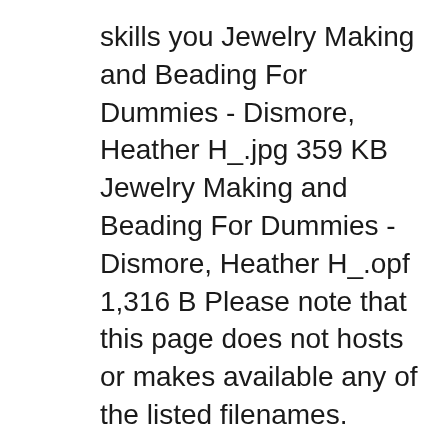skills you Jewelry Making and Beading For Dummies - Dismore, Heather H_.jpg 359 KB Jewelry Making and Beading For Dummies - Dismore, Heather H_.opf 1,316 B Please note that this page does not hosts or makes available any of the listed filenames.
scratch for kids for dummies Sun, 16 Dec 2018 20:50:00 GMT scratch for kids for dummies pdf - Make bracelets, necklaces, earrings, rings, pins, key Free Download Read Ebook Jewelry Making and Beading For Dummies Download [PDF] Best Book Download Best Book Read Ebook Jewelry Making and Beading For Dummies Download [PDF]